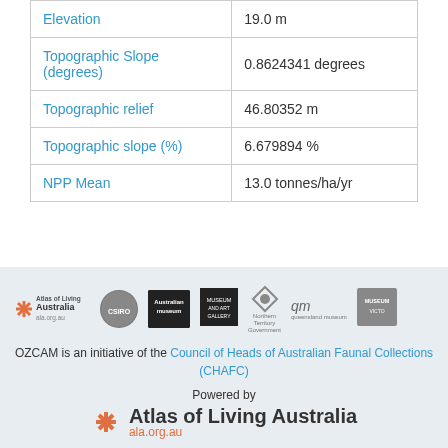| Property | Value |
| --- | --- |
| Elevation | 19.0 m |
| Topographic Slope (degrees) | 0.8624341 degrees |
| Topographic relief | 46.80352 m |
| Topographic slope (%) | 6.679894 % |
| NPP Mean | 13.0 tonnes/ha/yr |
[Figure (logo): Partner logos row: Atlas of Living Australia, CSIRO, Australian Museum, Museum/Art Gallery, Northern Territory Government, Queensland Museum, Museum Victoria]
OZCAM is an initiative of the Council of Heads of Australian Faunal Collections (CHAFC)
Powered by Atlas of Living Australia ala.org.au